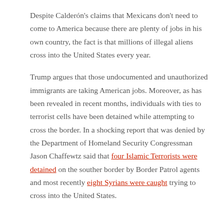Despite Calderón's claims that Mexicans don't need to come to America because there are plenty of jobs in his own country, the fact is that millions of illegal aliens cross into the United States every year.
Trump argues that those undocumented and unauthorized immigrants are taking American jobs. Moreover, as has been revealed in recent months, individuals with ties to terrorist cells have been detained while attempting to cross the border. In a shocking report that was denied by the Department of Homeland Security Congressman Jason Chaffewtz said that four Islamic Terrorists were detained on the souther border by Border Patrol agents and most recently eight Syrians were caught trying to cross into the United States.